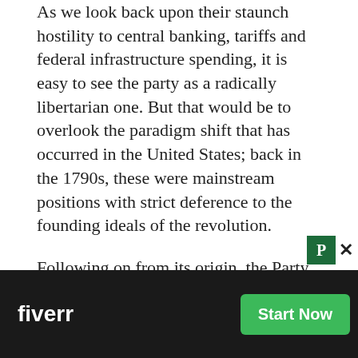As we look back upon their staunch hostility to central banking, tariffs and federal infrastructure spending, it is easy to see the party as a radically libertarian one. But that would be to overlook the paradigm shift that has occurred in the United States; back in the 1790s, these were mainstream positions with strict deference to the founding ideals of the revolution.
Following on from its origin, the Party became synonymous with slavery. After the Civil War, Bourbon Democrats dominated the party on a more classically liberal platform. This post-war shift could only have been brought about by the legal and cultural prohibi[tion of slavery, making it more] of a ra[dical centrist part]y. At its founding, the GOP were largely committed to the
[Figure (other): Fiverr advertisement overlay at the bottom of the page with dark background, Fiverr logo in white bold text, and a green 'Start Now' button. Also shows a green P box with an X close button in the upper right corner.]